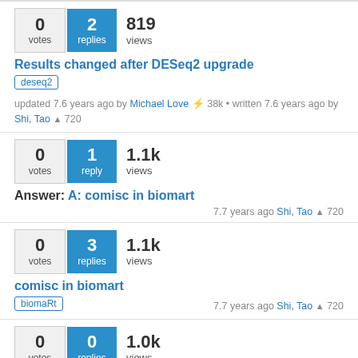0 votes | 2 replies | 819 views
Results changed after DESeq2 upgrade
deseq2
updated 7.6 years ago by Michael Love 38k • written 7.6 years ago by Shi, Tao ▲ 720
0 votes | 1 reply | 1.1k views
Answer: A: comisc in biomart
7.7 years ago Shi, Tao ▲ 720
0 votes | 3 replies | 1.1k views
comisc in biomart
biomaRt
7.7 years ago Shi, Tao ▲ 720
0 votes | 0 replies | 1.0k views
Answer: A: strange log2FoldChange estimates